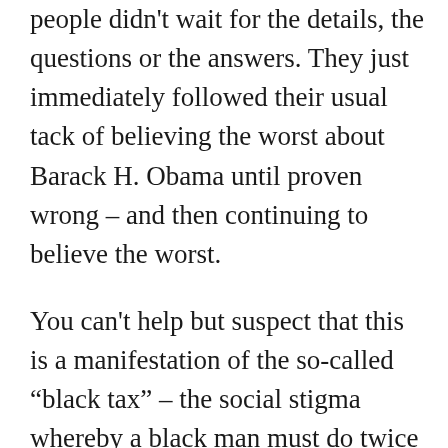people didn't wait for the details, the questions or the answers. They just immediately followed their usual tack of believing the worst about Barack H. Obama until proven wrong – and then continuing to believe the worst.
You can't help but suspect that this is a manifestation of the so-called “black tax” – the social stigma whereby a black man must do twice as much as a white man in order to receive half the credit, or some such. By that reckoning, the president only needs to kill Osama three more times. No, wait – he's only